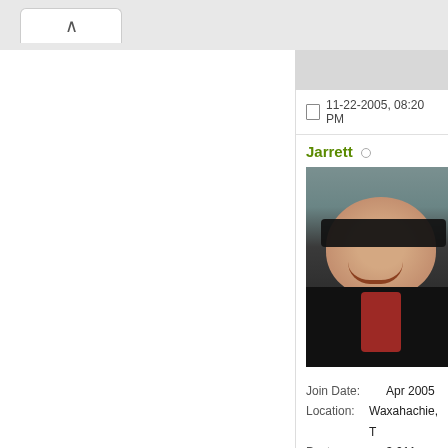[Figure (screenshot): Forum post page screenshot showing user profile sidebar with username Jarrett, avatar photo of man with sunglasses in black jacket on a boat, and user info including Join Date Apr 2005, Location Waxahachie T, Posts 3,011, +1: 77. Post timestamp shows 11-22-2005, 08:20 PM.]
11-22-2005, 08:20 PM
Jarrett
Join Date: Apr 2005
Location: Waxahachie, T
Posts: 3,011
+1: 77